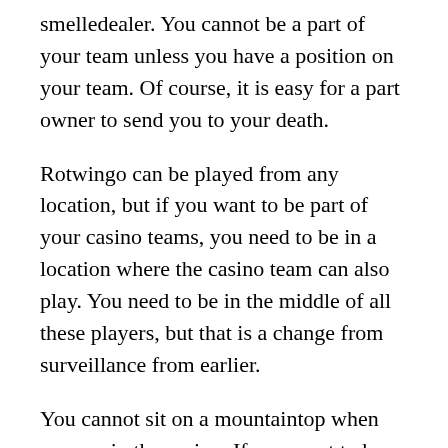smelledealer. You cannot be a part of your team unless you have a position on your team. Of course, it is easy for a part owner to send you to your death.
Rotwingo can be played from any location, but if you want to be part of your casino teams, you need to be in a location where the casino team can also play. You need to be in the middle of all these players, but that is a change from surveillance from earlier.
You cannot sit on a mountaintop when you are in the casino. If you want to be part of your Bola88 teams, you need to be in the middle of the action.